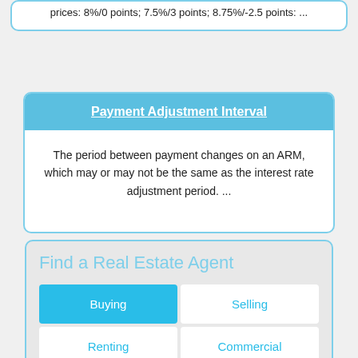prices: 8%/0 points; 7.5%/3 points; 8.75%/-2.5 points: ...
Payment Adjustment Interval
The period between payment changes on an ARM, which may or may not be the same as the interest rate adjustment period. ...
Find a Real Estate Agent
Buying
Selling
Renting
Commercial
Search Real Estate Agents by: City, Zip